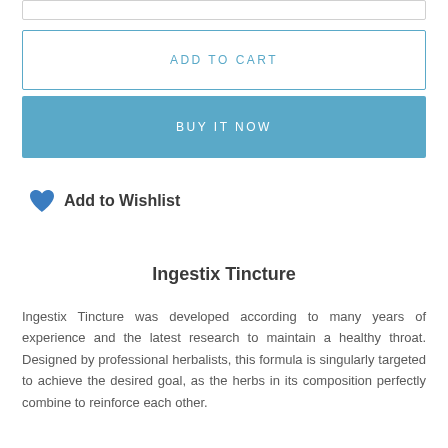ADD TO CART
BUY IT NOW
Add to Wishlist
Ingestix Tincture
Ingestix Tincture was developed according to many years of experience and the latest research to maintain a healthy throat. Designed by professional herbalists, this formula is singularly targeted to achieve the desired goal, as the herbs in its composition perfectly combine to reinforce each other.